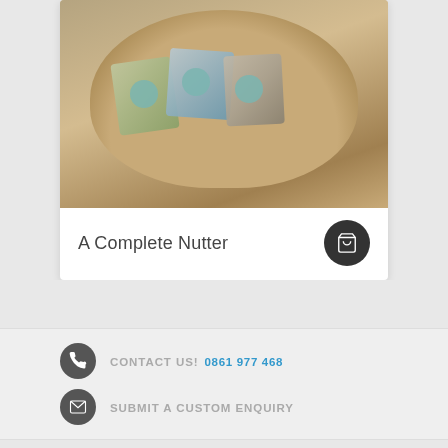[Figure (photo): Photo of a gift basket filled with assorted nut snack packages with teal round labels, arranged in a wicker basket on a wooden surface.]
A Complete Nutter
CONTACT US!  0861 977 468
SUBMIT A CUSTOM ENQUIRY
INMOTION PROMOTION